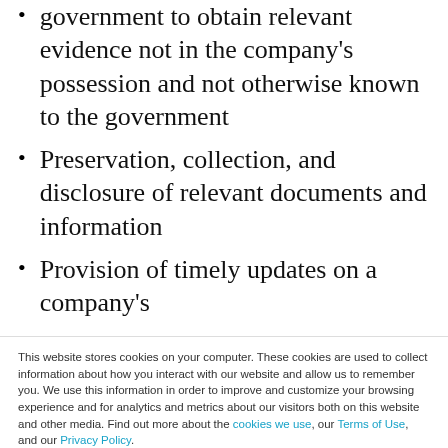government to obtain relevant evidence not in the company's possession and not otherwise known to the government
Preservation, collection, and disclosure of relevant documents and information
Provision of timely updates on a company's
This website stores cookies on your computer. These cookies are used to collect information about how you interact with our website and allow us to remember you. We use this information in order to improve and customize your browsing experience and for analytics and metrics about our visitors both on this website and other media. Find out more about the cookies we use, our Terms of Use, and our Privacy Policy.
If you decline, your information won't be tracked when you visit this website. A single cookie will be used in your browser to remember your preference not to be tracked.